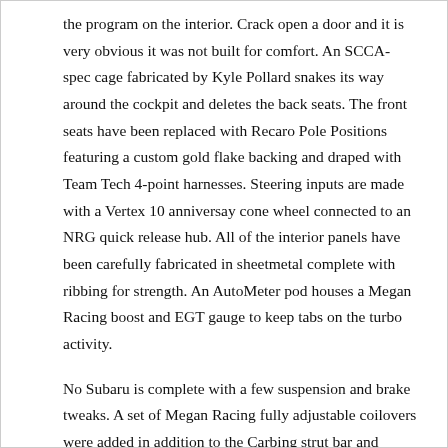the program on the interior. Crack open a door and it is very obvious it was not built for comfort. An SCCA-spec cage fabricated by Kyle Pollard snakes its way around the cockpit and deletes the back seats. The front seats have been replaced with Recaro Pole Positions featuring a custom gold flake backing and draped with Team Tech 4-point harnesses. Steering inputs are made with a Vertex 10 anniversay cone wheel connected to an NRG quick release hub. All of the interior panels have been carefully fabricated in sheetmetal complete with ribbing for strength. An AutoMeter pod houses a Megan Racing boost and EGT gauge to keep tabs on the turbo activity.
No Subaru is complete with a few suspension and brake tweaks. A set of Megan Racing fully adjustable coilovers were added in addition to the Carbing strut bar and Cusco triangle bar. The elastic bar comes tied to black as well by Eddling...